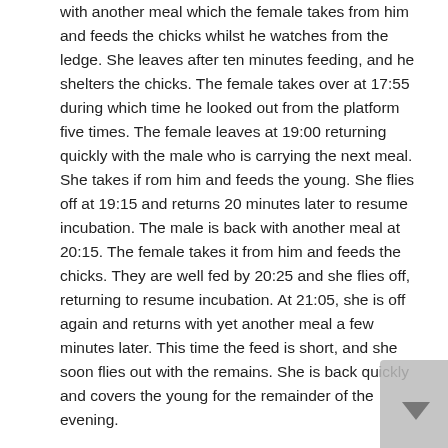with another meal which the female takes from him and feeds the chicks whilst he watches from the ledge. She leaves after ten minutes feeding, and he shelters the chicks. The female takes over at 17:55 during which time he looked out from the platform five times. The female leaves at 19:00 returning quickly with the male who is carrying the next meal. She takes if rom him and feeds the young. She flies off at 19:15 and returns 20 minutes later to resume incubation. The male is back with another meal at 20:15. The female takes it from him and feeds the chicks. They are well fed by 20:25 and she flies off, returning to resume incubation. At 21:05, she is off again and returns with yet another meal a few minutes later. This time the feed is short, and she soon flies out with the remains. She is back quickly and covers the young for the remainder of the evening.
20 May – breakfast is early today; the male brings in prey at 4:40. The female takes it from him and feeds the young, then leaves with the remains ten minutes later. The male flies in and after trying to feed the chicks on scraps (they are too full), he shelters them in the box. The female is back at 5:15 to take over and he leaves. She flies out at 6:20 and the chicks are starting to stretch both legs and wings, and the first signs of pin feathers are now